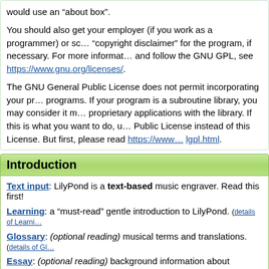would use an “about box”.
You should also get your employer (if you work as a programmer) or sc… “copyright disclaimer” for the program, if necessary. For more informat… and follow the GNU GPL, see https://www.gnu.org/licenses/.
The GNU General Public License does not permit incorporating your pr… programs. If your program is a subroutine library, you may consider it m… proprietary applications with the library. If this is what you want to do, u… Public License instead of this License. But first, please read https://www… lgpl.html.
Introduction
Text input: LilyPond is a text-based music engraver. Read this first!
Learning: a “must-read” gentle introduction to LilyPond. (details of Learni…
Glossary: (optional reading) musical terms and translations. (details of Gl…
Essay: (optional reading) background information about computer engr…